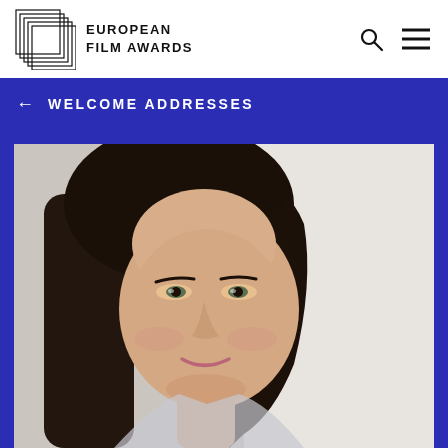[Figure (logo): European Film Awards logo with stacked rectangle outlines and text 'EUROPEAN FILM AWARDS']
← WELCOME ADDRESSES
[Figure (photo): Portrait photo of a woman with dark hair, smiling, in front of a light background]